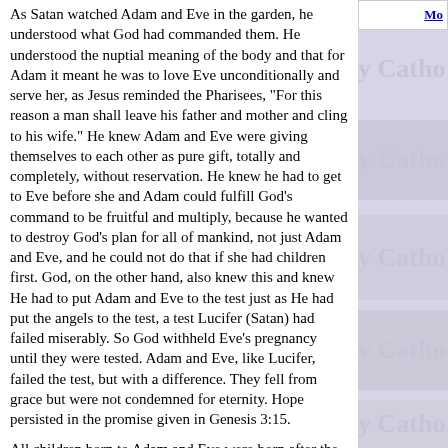As Satan watched Adam and Eve in the garden, he understood what God had commanded them. He understood the nuptial meaning of the body and that for Adam it meant he was to love Eve unconditionally and serve her, as Jesus reminded the Pharisees, "For this reason a man shall leave his father and mother and cling to his wife." He knew Adam and Eve were giving themselves to each other as pure gift, totally and completely, without reservation. He knew he had to get to Eve before she and Adam could fulfill God's command to be fruitful and multiply, because he wanted to destroy God's plan for all of mankind, not just Adam and Eve, and he could not do that if she had children first. God, on the other hand, also knew this and knew He had to put Adam and Eve to the test just as He had put the angels to the test, a test Lucifer (Satan) had failed miserably. So God withheld Eve's pregnancy until they were tested. Adam and Eve, like Lucifer, failed the test, but with a difference. They fell from grace but were not condemned for eternity. Hope persisted in the promise given in Genesis 3:15.
All children born to Adam and Eve were born after the Fall, and therefore inherited the nature their